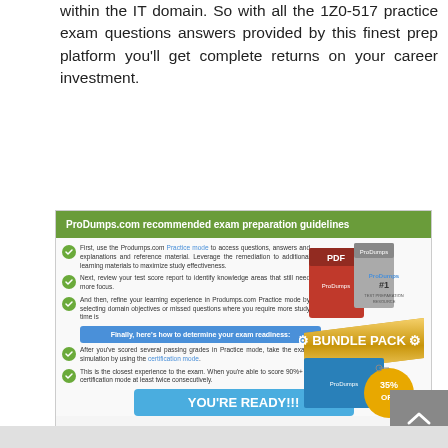within the IT domain. So with all the 1Z0-517 practice exam questions answers provided by this finest prep platform you'll get complete returns on your career investment.
[Figure (infographic): ProDumps.com recommended exam preparation guidelines infographic with bullet points, bundle pack image showing 35% OFF, and YOU'RE READY!!! button]